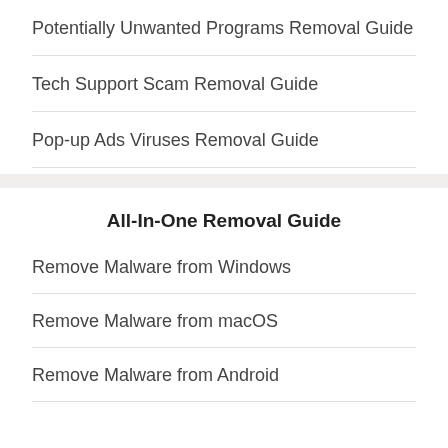Potentially Unwanted Programs Removal Guide
Tech Support Scam Removal Guide
Pop-up Ads Viruses Removal Guide
All-In-One Removal Guide
Remove Malware from Windows
Remove Malware from macOS
Remove Malware from Android